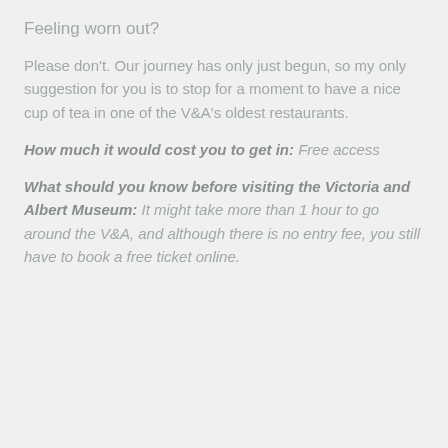Feeling worn out?
Please don't. Our journey has only just begun, so my only suggestion for you is to stop for a moment to have a nice cup of tea in one of the V&A's oldest restaurants.
How much it would cost you to get in: Free access
What should you know before visiting the Victoria and Albert Museum: It might take more than 1 hour to go around the V&A, and although there is no entry fee, you still have to book a free ticket online.